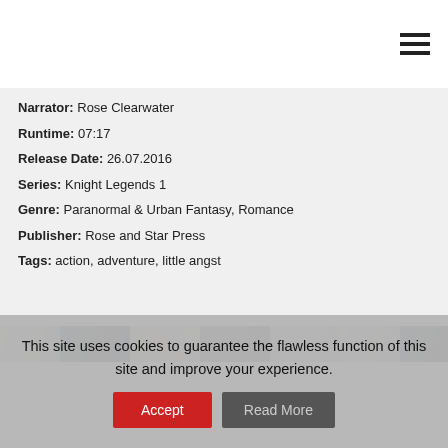Narrator: Rose Clearwater
Runtime: 07:17
Release Date: 26.07.2016
Series: Knight Legends 1
Genre: Paranormal & Urban Fantasy, Romance
Publisher: Rose and Star Press
Tags: action, adventure, little angst
[Figure (photo): Partial view of book cover images in a horizontal strip]
This site uses cookies to guarantee the flawless function of this site and improve your experience.
Accept   Read More